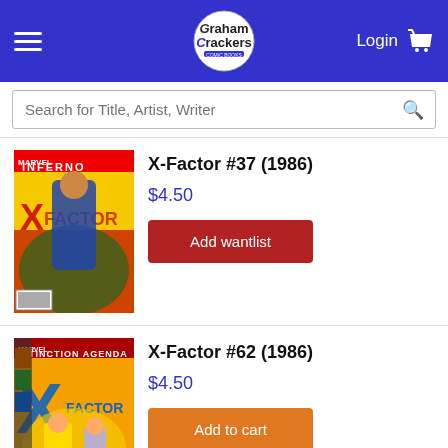Graham Crackers Comics — Login, Cart
Search for Title, Artist, Writer
X-Factor #37 (1986)
$4.50
Add wantlist
X-Factor #62 (1986)
$4.50
Add to cart